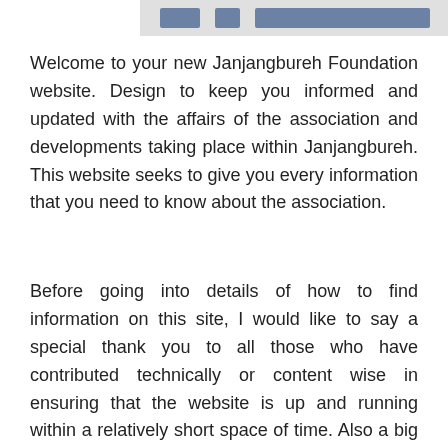[Figure (screenshot): Blurred/redacted navigation bar or header image at the top of the page, dark blue/gray colored strip]
Welcome to your new Janjangbureh Foundation website. Design to keep you informed and updated with the affairs of the association and developments taking place within Janjangbureh. This website seeks to give you every information that you need to know about the association.
Before going into details of how to find information on this site, I would like to say a special thank you to all those who have contributed technically or content wise in ensuring that the website is up and running within a relatively short space of time. Also a big thank you to Muhammed L. Saidykhan for